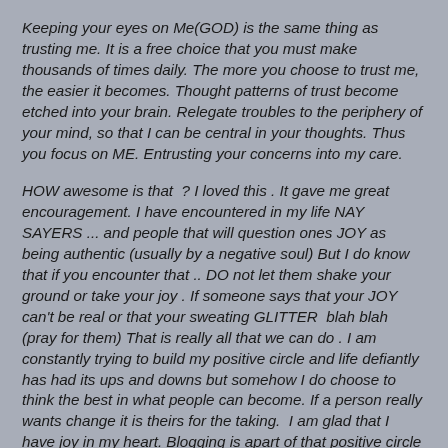Keeping your eyes on Me(GOD) is the same thing as trusting me. It is a free choice that you must make thousands of times daily. The more you choose to trust me, the easier it becomes. Thought patterns of trust become etched into your brain. Relegate troubles to the periphery of your mind, so that I can be central in your thoughts. Thus you focus on ME. Entrusting your concerns into my care.
HOW awesome is that ? I loved this . It gave me great encouragement. I have encountered in my life NAY SAYERS ... and people that will question ones JOY as being authentic (usually by a negative soul) But I do know that if you encounter that .. DO not let them shake your ground or take your joy . If someone says that your JOY can't be real or that your sweating GLITTER  blah blah (pray for them) That is really all that we can do . I am constantly trying to build my positive circle and life defiantly has had its ups and downs but somehow I do choose to think the best in what people can become. If a person really wants change it is theirs for the taking.  I am glad that I have joy in my heart. Blogging is apart of that positive circle as well. LOVE my blogging